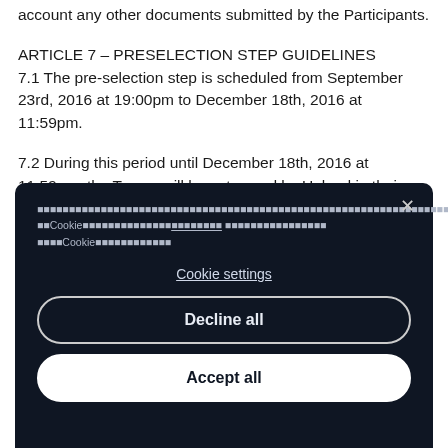account any other documents submitted by the Participants.
ARTICLE 7 – PRESELECTION STEP GUIDELINES
7.1 The pre-selection step is scheduled from September 23rd, 2016 at 19:00pm to December 18th, 2016 at 11:59pm.
7.2 During this period until December 18th, 2016 at 11:59pm, the Teams will have to send by Upload in their online space, their pre-selection Deliverable, which is composed
[Figure (screenshot): Cookie consent modal dialog with dark background (#0f1623). Contains Thai-language cookie notice text, a 'Cookie settings' underlined link, a 'Decline all' button with outline style, and an 'Accept all' button with white fill. An X close button is in the top right corner.]
be invited to continue the challenge through the